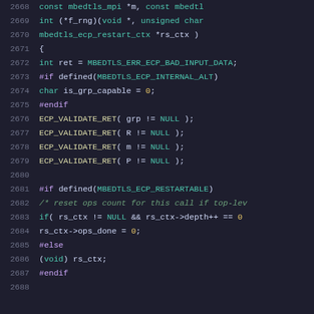[Figure (screenshot): Source code screenshot showing C code lines 2668-2688 with syntax highlighting on dark background. Code shows mbedTLS ECP (Elliptic Curve Point) multiplication function implementation with preprocessor directives, validation macros, and restart context handling.]